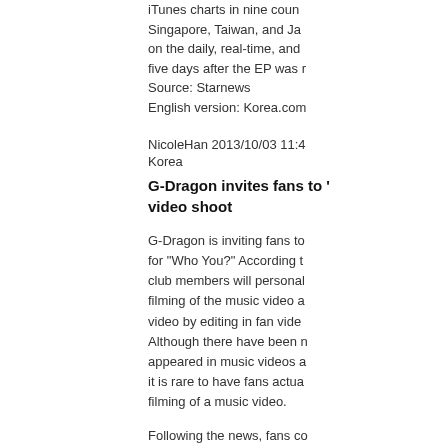iTunes charts in nine countries including Singapore, Taiwan, and Japan. It topped on the daily, real-time, and weekly charts five days after the EP was released.
Source: Starnews
English version: Korea.com
NicoleHan 2013/10/03 11:4
Korea
G-Dragon invites fans to video shoot
G-Dragon is inviting fans to the filming for "Who You?" According to reports, fan club members will personally witness the filming of the music video and be part of the video by editing in fan video footage. Although there have been many fans who appeared in music videos as extras before, it is rare to have fans actually witness the filming of a music video.
Following the news, fans commented "I'm excited that fans will get to attend!" and "GD is Awesome."